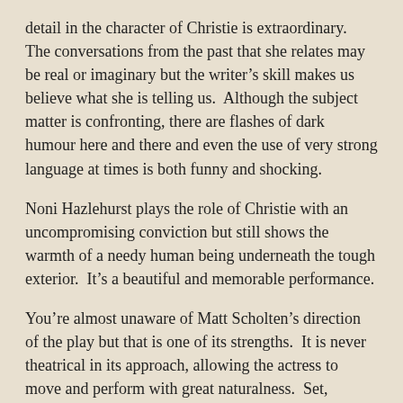detail in the character of Christie is extraordinary.  The conversations from the past that she relates may be real or imaginary but the writer’s skill makes us believe what she is telling us.  Although the subject matter is confronting, there are flashes of dark humour here and there and even the use of very strong language at times is both funny and shocking.
Noni Hazlehurst plays the role of Christie with an uncompromising conviction but still shows the warmth of a needy human being underneath the tough exterior.  It’s a beautiful and memorable performance.
You’re almost unaware of Matt Scholten’s direction of the play but that is one of its strengths.  It is never theatrical in its approach, allowing the actress to move and perform with great naturalness.  Set, costume and props by Kat Chan, although deceptively simple have obviously been carefully thought out and are very effective. The sound by Darius Kedros is particularly well-designed and atmospheric and it’s all complemented by a nicely shadowy lighting design by Tom Willis.